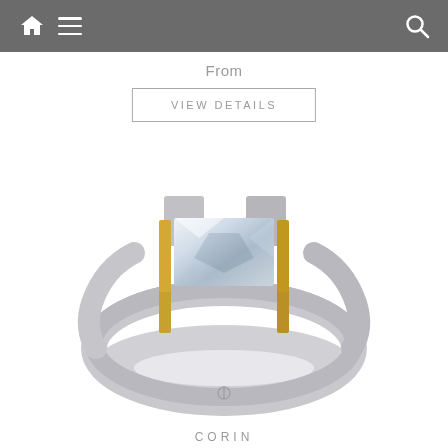Navigation bar with home, menu, and search icons
From
VIEW DETAILS
[Figure (photo): A silver ring with a rectangular baguette-cut clear gemstone held in gold prong settings, with a split shank band. The ring has a modern, minimalist design with mixed metals - sterling silver band and yellow gold accent around the stone.]
CORIN